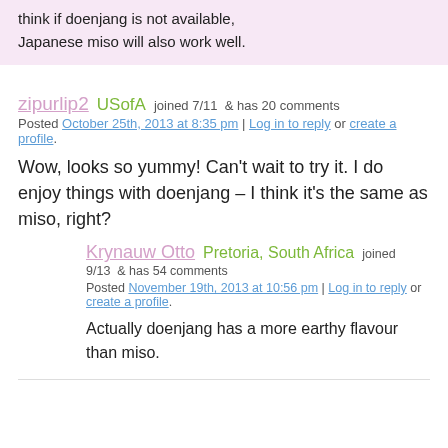think if doenjang is not available, Japanese miso will also work well.
zipurlip2  USofA  joined 7/11  & has 20 comments
Posted October 25th, 2013 at 8:35 pm | Log in to reply or create a profile.
Wow, looks so yummy! Can’t wait to try it. I do enjoy things with doenjang – I think it’s the same as miso, right?
Krynauw Otto  Pretoria, South Africa  joined 9/13  & has 54 comments
Posted November 19th, 2013 at 10:56 pm | Log in to reply or create a profile.
Actually doenjang has a more earthy flavour than miso.